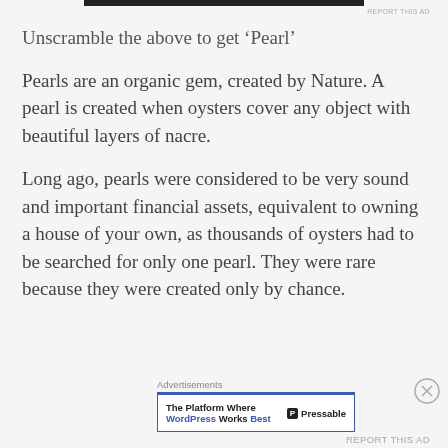Unscramble the above to get ‘Pearl’
Pearls are an organic gem, created by Nature. A pearl is created when oysters cover any object with beautiful layers of nacre.
Long ago, pearls were considered to be very sound and important financial assets, equivalent to owning a house of your own, as thousands of oysters had to be searched for only one pearl. They were rare because they were created only by chance.
[Figure (other): Advertisement banner for Pressable WordPress hosting platform with text 'The Platform Where WordPress Works Best' and Pressable logo]